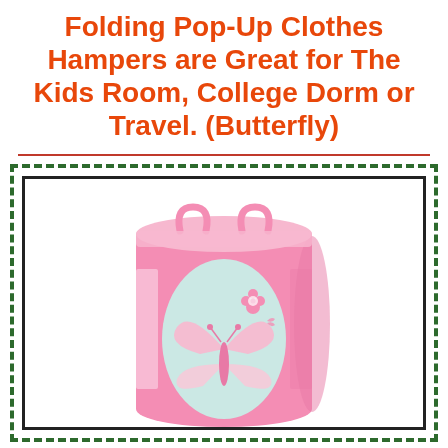Folding Pop-Up Clothes Hampers are Great for The Kids Room, College Dorm or Travel. (Butterfly)
[Figure (photo): Pink folding pop-up clothes hamper with a butterfly and flower design on a light blue oval panel on the front. The hamper is cylindrical, pink fabric with mesh accents, and has carrying handles at the top. Displayed inside a dark bordered frame with a green dashed outer border.]